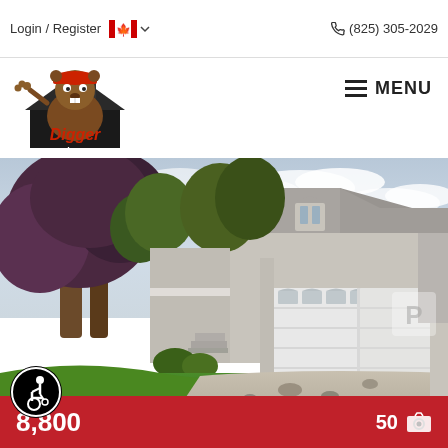Login / Register  🍁  (825) 305-2029
[Figure (logo): Digger Real Estate logo — cartoon beaver wearing a hard hat, sitting on a house roof, with red script text 'Digger' and 'Real Estate' beneath]
MENU
[Figure (photo): Exterior photo of a two-storey residential house with a large white double garage door, dormers, light stucco exterior, large trees with purple/dark red foliage on the left, green lawn, and gravel driveway in front.]
$348,800  50 📷